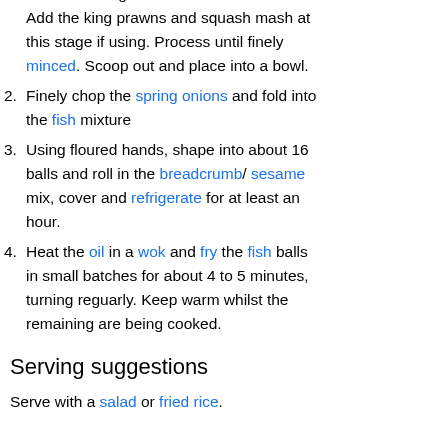(continued) recado de achiote, nam pla and cornflour and seasoning to a blender with a blade. Add the king prawns and squash mash at this stage if using. Process until finely minced. Scoop out and place into a bowl.
2. Finely chop the spring onions and fold into the fish mixture
3. Using floured hands, shape into about 16 balls and roll in the breadcrumb/ sesame mix, cover and refrigerate for at least an hour.
4. Heat the oil in a wok and fry the fish balls in small batches for about 4 to 5 minutes, turning reguarly. Keep warm whilst the remaining are being cooked.
Serving suggestions
Serve with a salad or fried rice.